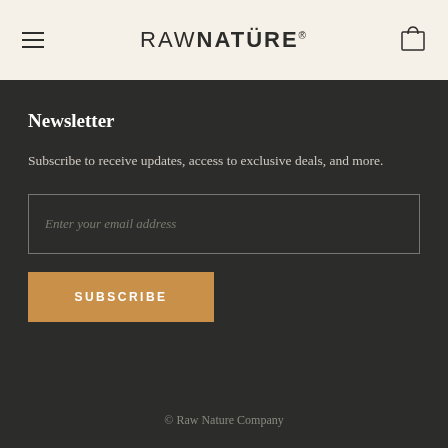RAW NATÜRE®
Newsletter
Subscribe to receive updates, access to exclusive deals, and more.
Enter your email address
SUBSCRIBE
© Raw Nature Company